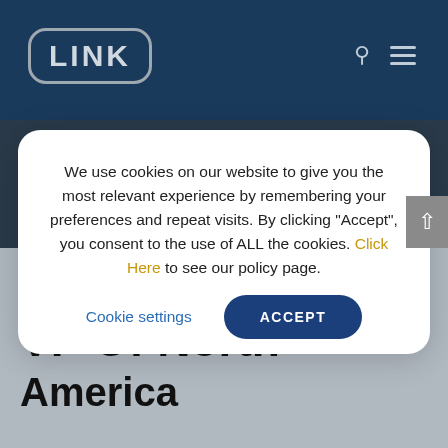[Figure (logo): LINK logo in rounded rectangle border on dark blue header bar]
We use cookies on our website to give you the most relevant experience by remembering your preferences and repeat visits. By clicking “Accept”, you consent to the use of ALL the cookies. Click Here to see our policy page.
Cookie settings
ACCEPT
Woychowski As VP Of North America